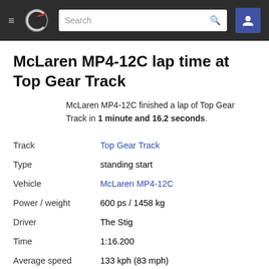Navigation bar with hamburger menu, logo, search box, and user icon
McLaren MP4-12C lap time at Top Gear Track
McLaren MP4-12C finished a lap of Top Gear Track in 1 minute and 16.2 seconds.
| Field | Value |
| --- | --- |
| Track | Top Gear Track |
| Type | standing start |
| Vehicle | McLaren MP4-12C |
| Power / weight | 600 ps / 1458 kg |
| Driver | The Stig |
| Time | 1:16.200 |
| Average speed | 133 kph (83 mph) |
| Submitted | 12 years ago by topgear |
| Views | 6.7k |